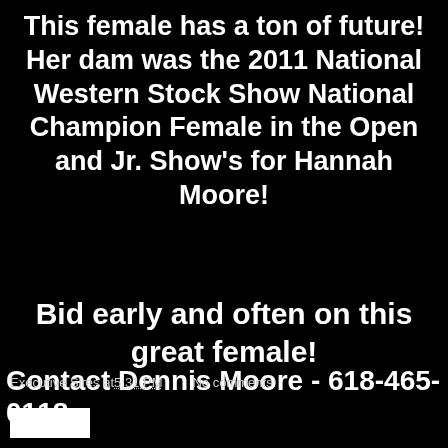This female has a ton of future! Her dam was the 2011 National Western Stock Show National Champion Female in the Open and Jr. Show's for Hannah Moore!
Bid early and often on this great female!
Contact Dennis Moore - 618-465-0118
Executive Sires at 5:31 PM   No comments: